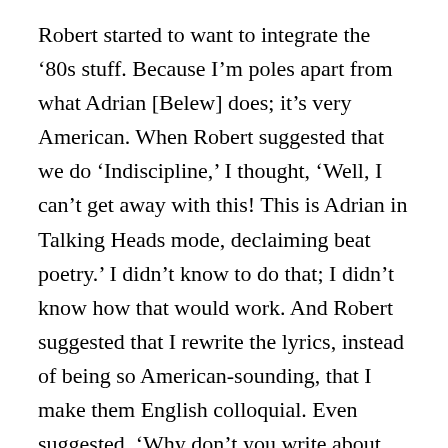Robert started to want to integrate the ‘80s stuff. Because I’m poles apart from what Adrian [Belew] does; it’s very American. When Robert suggested that we do ‘Indiscipline,’ I thought, ‘Well, I can’t get away with this! This is Adrian in Talking Heads mode, declaiming beat poetry.’ I didn’t know to do that; I didn’t know how that would work. And Robert suggested that I rewrite the lyrics, instead of being so American-sounding, that I make them English colloquial. Even suggested, ‘Why don’t you write about the first time you saw Crimson when you were 13?’ And I tried that; I just could not find a way in. And I just thought, ‘I don’t think I can do this.’
“And then it just dawned on me. I thought, ‘You know